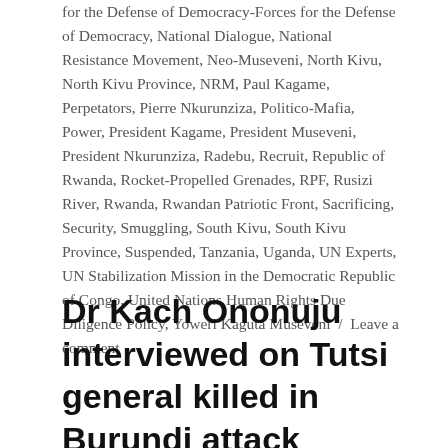for the Defense of Democracy-Forces for the Defense of Democracy, National Dialogue, National Resistance Movement, Neo-Museveni, North Kivu, North Kivu Province, NRM, Paul Kagame, Perpetators, Pierre Nkurunziza, Politico-Mafia, Power, President Kagame, President Museveni, President Nkurunziza, Radebu, Recruit, Republic of Rwanda, Rocket-Propelled Grenades, RPF, Rusizi River, Rwanda, Rwandan Patriotic Front, Sacrificing, Security, Smuggling, South Kivu, South Kivu Province, Suspended, Tanzania, Uganda, UN Experts, UN Stabilization Mission in the Democratic Republic of Congo, United Nations Human Rights Due Diligence Policy, Yoweri Kaguta Museveni / Leave a comment
Dr Kach Ononuju interviewed on Tutsi general killed in Burundi attack (Youtube-Clip)